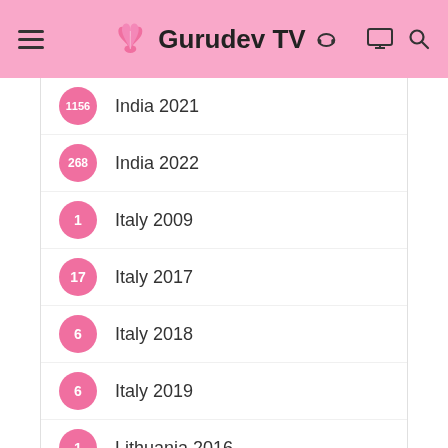Gurudev TV
1156  India 2021
268  India 2022
1  Italy 2009
17  Italy 2017
6  Italy 2018
6  Italy 2019
1  Lithuania 2016
3  Lithuania 2017
3  Lithuania 2019
4  Malaysia 2015
15  Malaysia 2016
13  Malaysia 2017